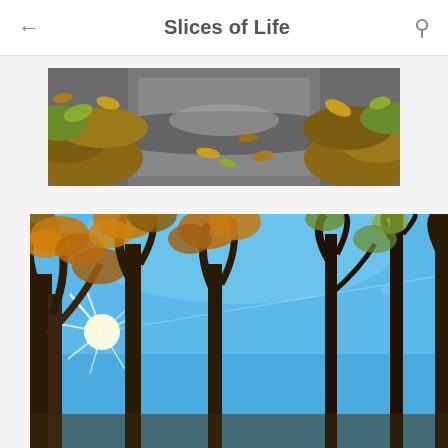Slices of Life
[Figure (photo): Close-up ground-level photo of a gravel path covered with fallen autumn leaves in shades of brown, yellow, and green. The path curves away with leaves piled on both sides.]
[Figure (photo): Looking-up photo of tall autumn trees with orange, yellow, and brown foliage against a bright blue sky. The sun is visible through the trees on the left creating a starburst lens flare effect.]